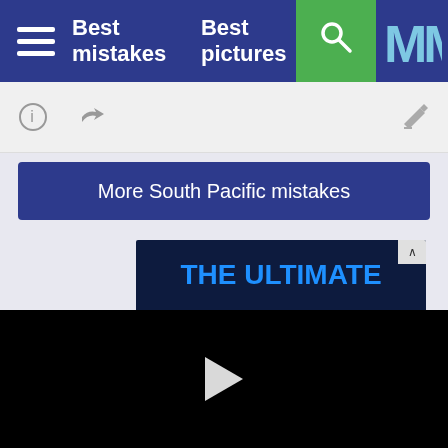Best mistakes   Best pictures
[Figure (screenshot): Icon bar with info icon, share icon, and edit icon]
More South Pacific mistakes
[Figure (infographic): Advertisement banner: THE ULTIMATE STREAMING TRIO with Disney+ logo partial]
[Figure (screenshot): Black video player area with play button triangle]